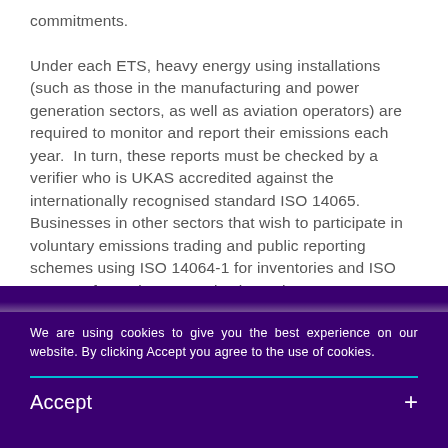commitments.

Under each ETS, heavy energy using installations (such as those in the manufacturing and power generation sectors, as well as aviation operators) are required to monitor and report their emissions each year.  In turn, these reports must be checked by a verifier who is UKAS accredited against the internationally recognised standard ISO 14065. Businesses in other sectors that wish to participate in voluntary emissions trading and public reporting schemes using ISO 14064-1 for inventories and ISO 14064-2 for projects can also have those reports verified by an organisation that is accredited to ISO
We are using cookies to give you the best experience on our website. By clicking Accept you agree to the use of cookies.
Accept +